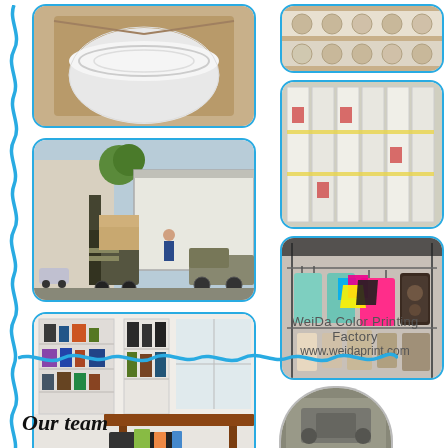[Figure (photo): Photo collage page showing packaging and shipping operations for WeiDa Color Printing Factory. Six photos: (1) top-left: large roll wrapped in plastic inside cardboard box, (2) middle-left: forklift loading boxes into shipping container truck, (3) bottom-left: showroom with shelves of printed products and boxes on table, (4) top-right: stacks of large printed rolls/paper rolls, (5) middle-right: tall stacks of white cartons/pallets in warehouse, (6) bottom-right: retail display of colorful printed shopping bags hanging on racks. Decorative blue wavy border on left side and bottom. Logo with CMYK marks and company name WeiDa Color Printing Factory / www.weidaprint.com at bottom right.]
Our team